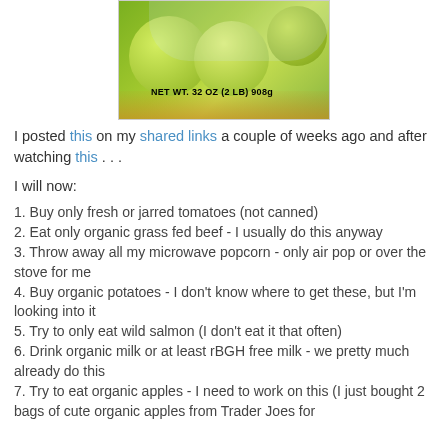[Figure (photo): Photo of green apples in a bag with label reading NET WT. 32 OZ (2 LB) 908g]
I posted this on my shared links a couple of weeks ago and after watching this . . .
I will now:
1. Buy only fresh or jarred tomatoes (not canned)
2. Eat only organic grass fed beef - I usually do this anyway
3. Throw away all my microwave popcorn - only air pop or over the stove for me
4. Buy organic potatoes - I don't know where to get these, but I'm looking into it
5. Try to only eat wild salmon (I don't eat it that often)
6. Drink organic milk or at least rBGH free milk - we pretty much already do this
7. Try to eat organic apples - I need to work on this (I just bought 2 bags of cute organic apples from Trader Joes for